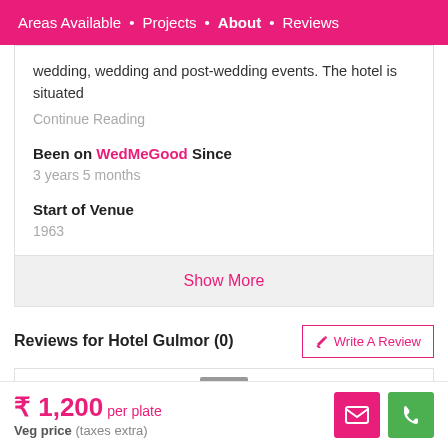Areas Available • Projects • About • Reviews
wedding, wedding and post-wedding events. The hotel is situated
Continue Reading
Been on WedMeGood Since
3 years 5 months
Start of Venue
1963
Show More
Reviews for Hotel Gulmor (0)
Write A Review
₹ 1,200 per plate
Veg price (taxes extra)